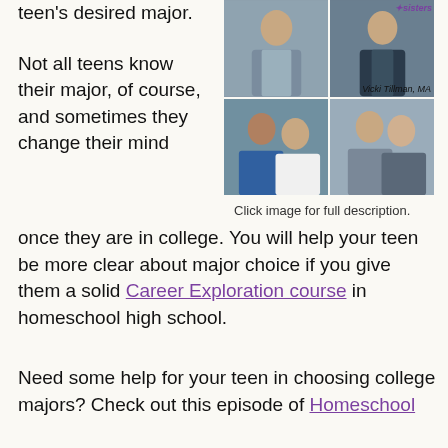teen's desired major.
[Figure (photo): Collage of four professional career photos showing business professionals and medical workers, with 'sisters' logo and 'Vicki Tillman, MA' label]
Click image for full description.
Not all teens know their major, of course, and sometimes they change their mind once they are in college. You will help your teen be more clear about major choice if you give them a solid Career Exploration course in homeschool high school.
Need some help for your teen in choosing college majors? Check out this episode of Homeschool